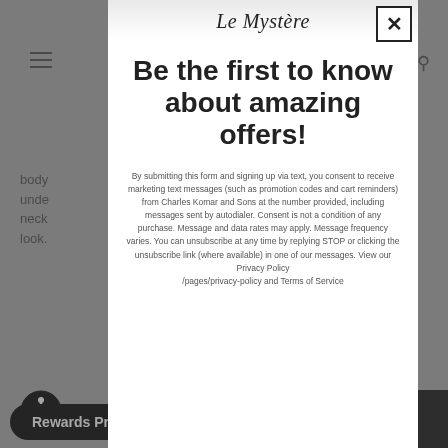[Figure (screenshot): Background website page with hamburger menu icon, search icon, body text, accessibility icon, FA/SIZ labels, and dark right panel]
Le Mystère
Be the first to know about amazing offers!
By submitting this form and signing up via text, you consent to receive marketing text messages (such as promotion codes and cart reminders) from Charles Komar and Sons at the number provided, including messages sent by autodialer. Consent is not a condition of any purchase. Message and data rates may apply. Message frequency varies. You can unsubscribe at any time by replying STOP or clicking the unsubscribe link (where available) in one of our messages. View our Privacy Policy /pages/privacy-policy and Terms of Service
Rewards Program